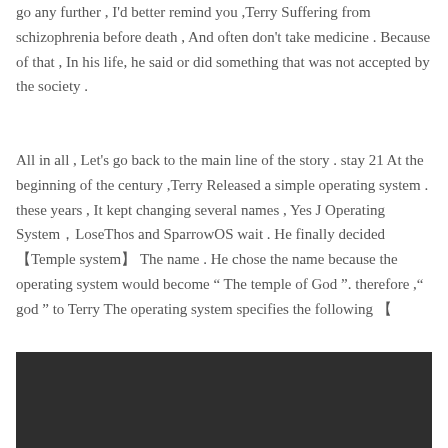go any further , I'd better remind you ,Terry Suffering from schizophrenia before death , And often don't take medicine . Because of that , In his life, he said or did something that was not accepted by the society .
All in all , Let's go back to the main line of the story . stay 21 At the beginning of the century ,Terry Released a simple operating system . these years , It kept changing several names , Yes J Operating System，LoseThos and SparrowOS wait . He finally decided 【Temple system】The name . He chose the name because the operating system would become " The temple of God ". therefore ," god " to Terry The operating system specifies the following 【
[Figure (photo): Dark/black rectangular image area at the bottom of the page]